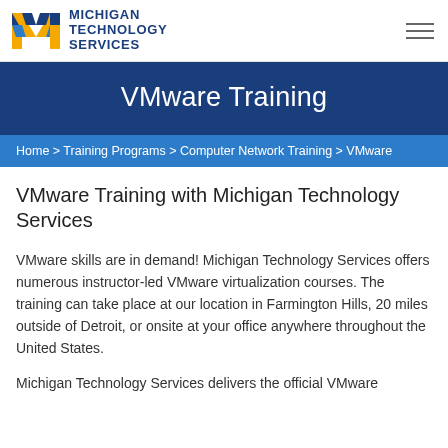Michigan Technology Services
VMware Training
Home > Training Programs > Computer Network Training > VMware
VMware Training with Michigan Technology Services
VMware skills are in demand! Michigan Technology Services offers numerous instructor-led VMware virtualization courses. The training can take place at our location in Farmington Hills, 20 miles outside of Detroit, or onsite at your office anywhere throughout the United States.
Michigan Technology Services delivers the official VMware